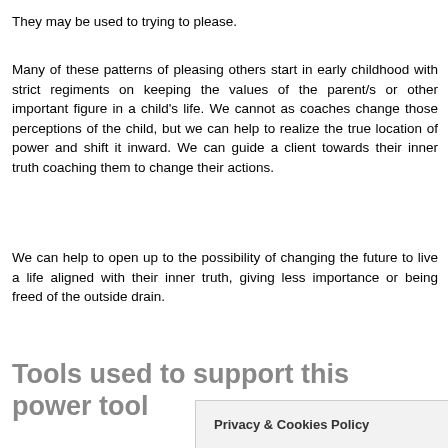They may be used to trying to please.
Many of these patterns of pleasing others start in early childhood with strict regiments on keeping the values of the parent/s or other important figure in a child’s life. We cannot as coaches change those perceptions of the child, but we can help to realize the true location of power and shift it inward. We can guide a client towards their inner truth coaching them to change their actions.
We can help to open up to the possibility of changing the future to live a life aligned with their inner truth, giving less importance or being freed of the outside drain.
Tools used to support this power tool
Privacy & Cookies Policy